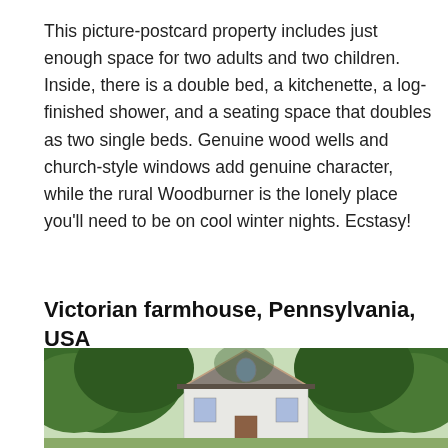This picture-postcard property includes just enough space for two adults and two children. Inside, there is a double bed, a kitchenette, a log-finished shower, and a seating space that doubles as two single beds. Genuine wood wells and church-style windows add genuine character, while the rural Woodburner is the lonely place you'll need to be on cool winter nights. Ecstasy!
Victorian farmhouse, Pennsylvania, USA
[Figure (photo): Exterior photograph of a Victorian farmhouse in Pennsylvania, USA. The house features a distinctive pointed Gothic Revival gable with decorative trim and an arched window. The structure is surrounded by large mature trees with green foliage. The roof is dark-colored and the house appears light-colored/white.]